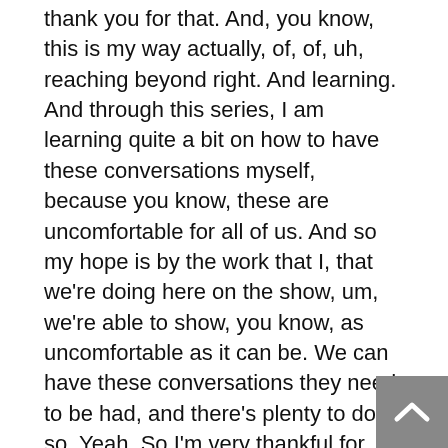thank you for that. And, you know, this is my way actually, of, of, uh, reaching beyond right. And learning. And through this series, I am learning quite a bit on how to have these conversations myself, because you know, these are uncomfortable for all of us. And so my hope is by the work that I, that we're doing here on the show, um, we're able to show, you know, as uncomfortable as it can be. We can have these conversations they need to be had, and there's plenty to do so. Yeah. So I'm very thankful for your time today and appreciate you giving us this idea to start and letting me run with it. Um, and we'll look forward to catching up with you again.
Cindy Rodriguez: 29:04 My pleasure. Thank you so much, Nicole. Really appreciate it.
Nicole Mahoney: 29:08 Thank you for listening all the way to the end of this week's episode. This gives me a chance to ask you for a favor. We have a